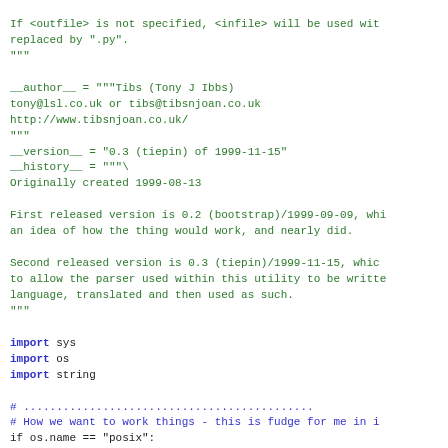If <outfile> is not specified, <infile> will be used with replaced by ".py".
"""

__author__ = """Tibs (Tony J Ibbs)
tony@lsl.co.uk or tibs@tibsnjoan.co.uk
http://www.tibsnjoan.co.uk/
"""
__version__ = "0.3 (tiepin) of 1999-11-15"
__history__ = """\
Originally created 1999-08-13

First released version is 0.2 (bootstrap)/1999-09-09, which gave
an idea of how the thing would work, and nearly did.

Second released version is 0.3 (tiepin)/1999-11-15, which is rewritten
to allow the parser used within this utility to be written in its own
language, translated and then used as such.
"""

import sys
import os
import string

# ............................................
# How we want to work things - this is fudge for me in interim
if os.name == "posix":
    # Unix at work
    DEFAULT_DEBUG = 0
    DEFAULT_PYTAG = 0